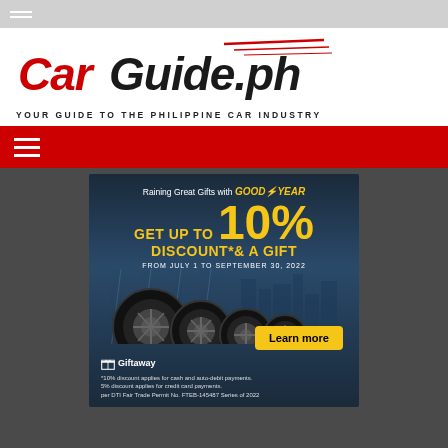Browser navigation bar
[Figure (logo): CarGuide.ph logo — Car in red italic, Guide.ph in bold black, with red speed lines. Tagline: YOUR GUIDE TO THE PHILIPPINE CAR INDUSTRY]
Navigation hamburger menu bar (red)
[Figure (infographic): Goodyear advertisement: Raining Great Gifts with Goodyear. GET UP TO 10% DISCOUNT* & A GIFT. FROM JULY 1 TO SEPTEMBER 30, 2022. Shows four car tires/wheels. Learn more button. Giftaway logo. Fine print: *10% discount applies for cash and auto-debit payments. 5% discount applies for credit card payments. per DTI Fair Trade Permit No. FTEB-145487 Series of 2022]